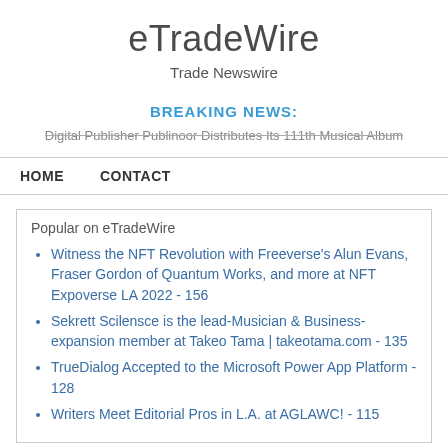eTradeWire
Trade Newswire
BREAKING NEWS:
Digital Publisher Publinoor Distributes Its 111th Musical Album
HOME   CONTACT
Popular on eTradeWire
Witness the NFT Revolution with Freeverse's Alun Evans, Fraser Gordon of Quantum Works, and more at NFT Expoverse LA 2022 - 156
Sekrett Scilensce is the lead-Musician & Business-expansion member at Takeo Tama | takeotama.com - 135
TrueDialog Accepted to the Microsoft Power App Platform - 128
Writers Meet Editorial Pros in L.A. at AGLAWC! - 115
May's MASTERS by Winn Claybaugh